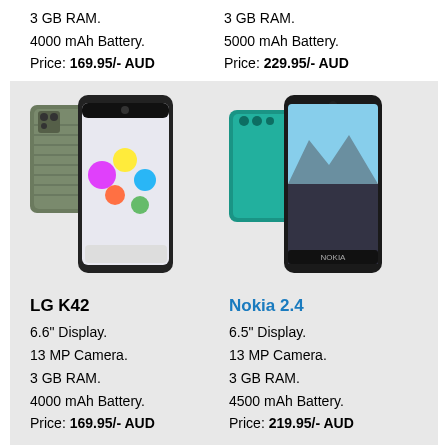3 GB RAM.
4000 mAh Battery.
Price: 169.95/- AUD
3 GB RAM.
5000 mAh Battery.
Price: 229.95/- AUD
[Figure (photo): LG K42 smartphone shown front and back in olive/green color]
LG K42
6.6" Display.
13 MP Camera.
3 GB RAM.
4000 mAh Battery.
Price: 169.95/- AUD
[Figure (photo): Nokia 2.4 smartphone shown front and back in teal/blue color]
Nokia 2.4
6.5" Display.
13 MP Camera.
3 GB RAM.
4500 mAh Battery.
Price: 219.95/- AUD
[Figure (photo): LG K42 smartphone partial view at bottom]
[Figure (photo): Blue smartphone partial view at bottom]